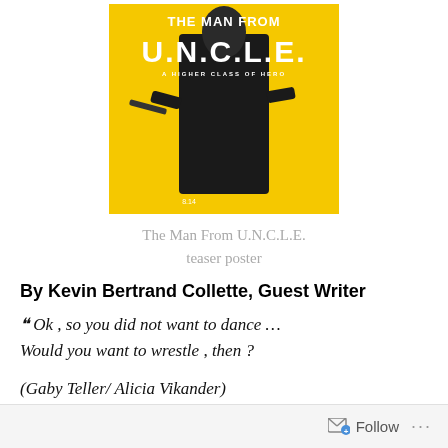[Figure (photo): Movie teaser poster for The Man From U.N.C.L.E. — yellow background with a figure in a dark suit holding a weapon, large text reading THE MAN FROM U.N.C.L.E. at the top]
The Man From U.N.C.L.E. teaser poster
By Kevin Bertrand Collette, Guest Writer
❝ Ok , so you did not want to dance … Would you want to wrestle , then ?
(Gaby Teller/ Alicia Vikander)
Follow